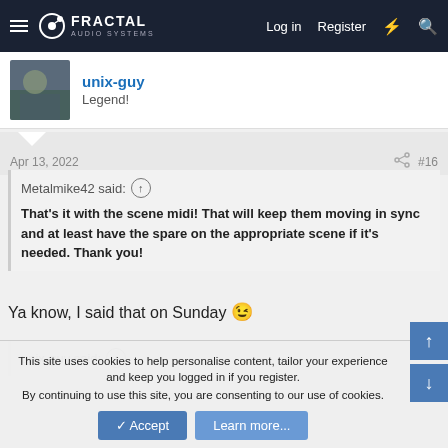Fractal Audio Systems — Log in | Register
unix-guy
Legend!
Apr 13, 2022  #16
Metalmike42 said: ↑
That's it with the scene midi! That will keep them moving in sync and at least have the spare on the appropriate scene if it's needed. Thank you!
Ya know, I said that on Sunday 😉
unix-guy said: ↑
This site uses cookies to help personalise content, tailor your experience and keep you logged in if you register.
By continuing to use this site, you are consenting to our use of cookies.